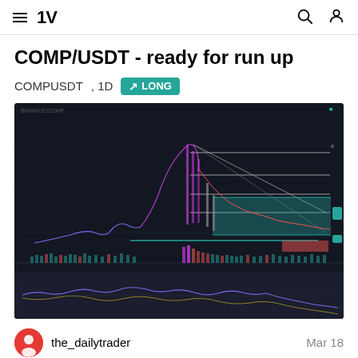TradingView navigation header
COMP/USDT - ready for run up
COMPUSDT, 1D  LONG
[Figure (screenshot): TradingView dark-theme candlestick chart of COMP/USDT on the 1D timeframe, showing price history with horizontal support/resistance lines, a green target zone box, a red stop-loss box, and volume bars plus an oscillator indicator below.]
the_dailytrader   Mar 18